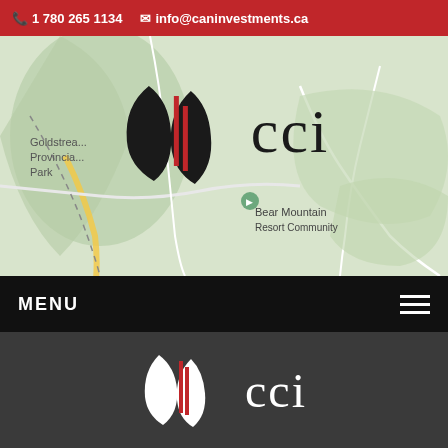1 780 265 1134   info@caninvestments.ca
[Figure (screenshot): Website screenshot showing CCI (Canadian Investments) logo over a map background with Goldstream Provincial Park and Bear Mountain Resort Community visible. Below is a black navigation menu bar with MENU text and hamburger icon. Lower portion shows a map. Footer shows the CCI logo in white on dark grey background.]
MENU